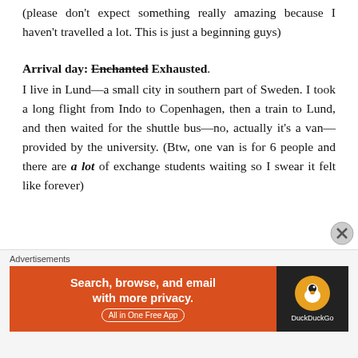(please don't expect something really amazing because I haven't travelled a lot. This is just a beginning guys)
Arrival day: Enchanted Exhausted.
I live in Lund—a small city in southern part of Sweden. I took a long flight from Indo to Copenhagen, then a train to Lund, and then waited for the shuttle bus—no, actually it's a van—provided by the university. (Btw, one van is for 6 people and there are a lot of exchange students waiting so I swear it felt like forever)
[Figure (other): DuckDuckGo advertisement banner: Search, browse, and email with more privacy. All in One Free App. DuckDuckGo logo on dark background.]